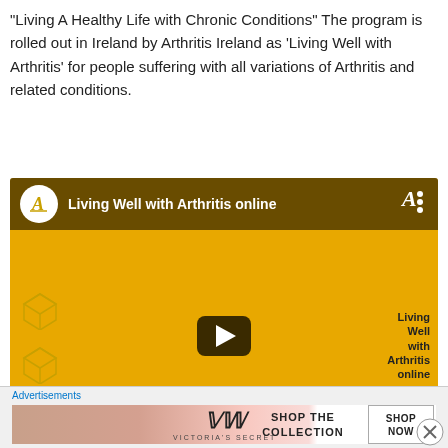“Living A Healthy Life with Chronic Conditions” The program is rolled out in Ireland by Arthritis Ireland as ‘Living Well with Arthritis’ for people suffering with all variations of Arthritis and related conditions.
[Figure (screenshot): YouTube video thumbnail showing 'Living Well with Arthritis online' with a woman (Rachel Dungan) on a yellow background with 3D cube icons on the left, a play button in the center, and the video title text on the right.]
[Figure (screenshot): Advertisement banner for Victoria's Secret showing 'SHOP THE COLLECTION' text with a 'SHOP NOW' button on a pink/flesh-toned background.]